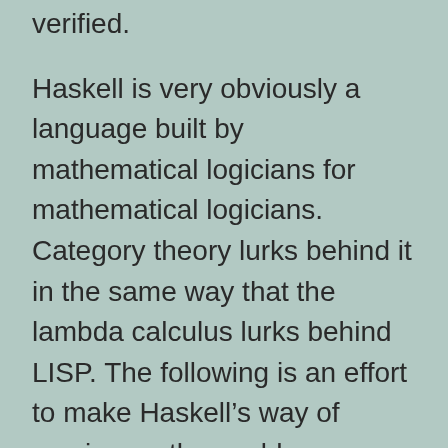verified.
Haskell is very obviously a language built by mathematical logicians for mathematical logicians. Category theory lurks behind it in the same way that the lambda calculus lurks behind LISP. The following is an effort to make Haskell’s way of carving up the world intelligible, written partly to clarify my own thoughts.
Haskell is built around a handful of powerful primitive concepts and a pons asinorum. The most pervasive of these, purely functional